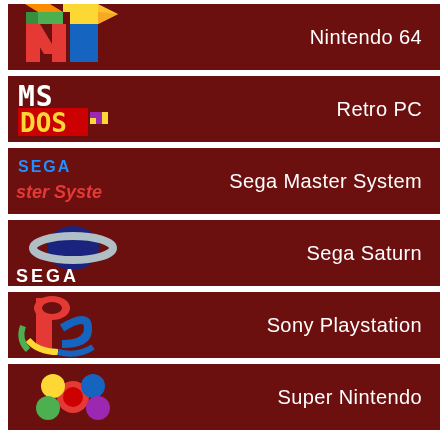[Figure (logo): Nintendo 64 logo with colorful N64 cube letters on dark red background, label: Nintendo 64]
[Figure (logo): MS-DOS retro pixel logo on dark red background, label: Retro PC]
[Figure (logo): Sega Master System logo on dark red background, label: Sega Master System]
[Figure (logo): Sega Saturn planet logo with SEGA text on dark red background, label: Sega Saturn]
[Figure (logo): Sony PlayStation logo on dark red background, label: Sony Playstation]
[Figure (logo): Super Nintendo colorful circular logo on dark red background, label: Super Nintendo]